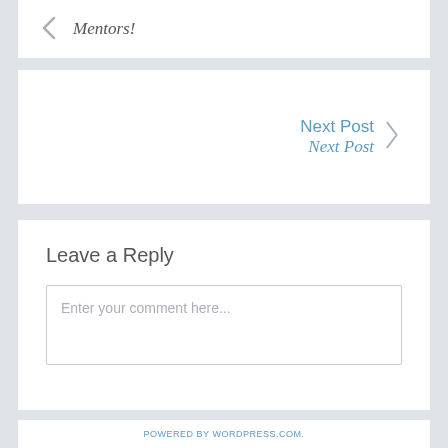Mentors!
Next Post
Next Post
Leave a Reply
Enter your comment here...
POWERED BY WORDPRESS.COM.